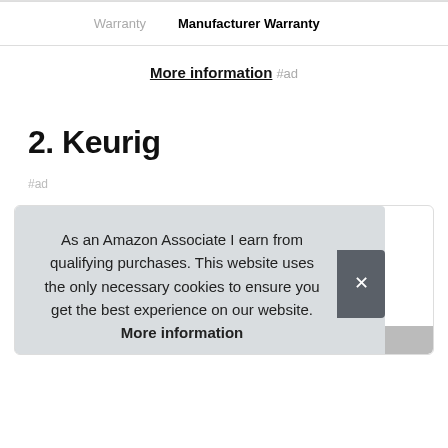|  |  |
| --- | --- |
| Warranty | Manufacturer Warranty |
More information #ad
2. Keurig
#ad
As an Amazon Associate I earn from qualifying purchases. This website uses the only necessary cookies to ensure you get the best experience on our website. More information